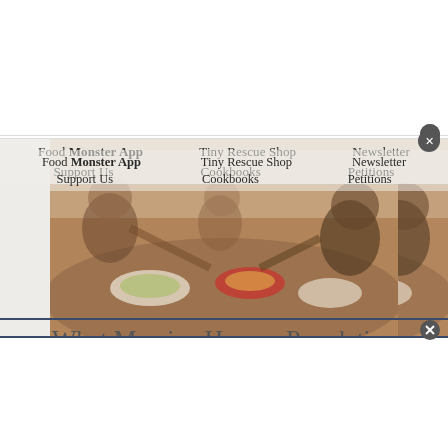Food Monster App  Tiny Rescue Shop  Newsletter  Support Us  Cookbooks  Petitions
[Figure (photo): People seated around a table sharing a meal with various dishes, bowls, and food items visible]
What Massive Human Population Growth Means for the Health of Planet – and What We Can Do About It
8 years ago